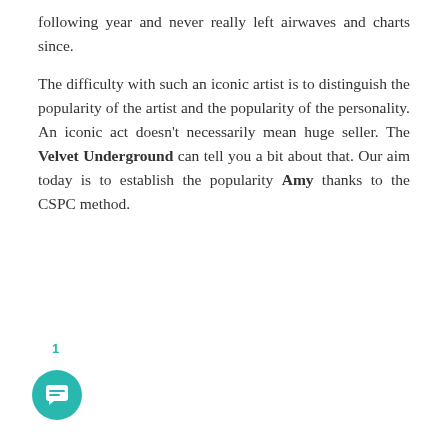following year and never really left airwaves and charts since.
The difficulty with such an iconic artist is to distinguish the popularity of the artist and the popularity of the personality. An iconic act doesn't necessarily mean huge seller. The Velvet Underground can tell you a bit about that. Our aim today is to establish the popularity Amy thanks to the CSPC method.
1